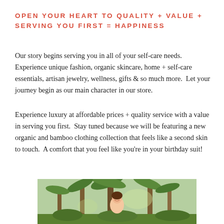OPEN YOUR HEART TO QUALITY + VALUE + SERVING YOU FIRST = HAPPINESS
Our story begins serving you in all of your self-care needs. Experience unique fashion, organic skincare, home + self-care essentials, artisan jewelry, wellness, gifts & so much more.  Let your journey begin as our main character in our store.
Experience luxury at affordable prices + quality service with a value in serving you first.  Stay tuned because we will be featuring a new organic and bamboo clothing collection that feels like a second skin to touch.  A comfort that you feel like you're in your birthday suit!
[Figure (photo): Woman smiling outdoors among tropical palm trees, green lush background]